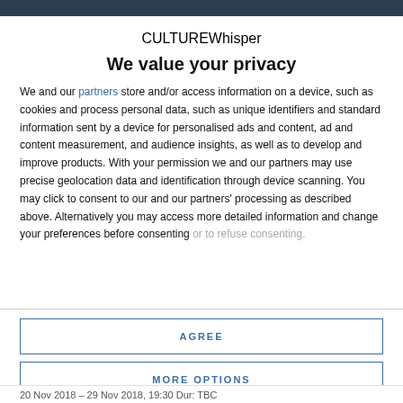CULTURE Whisper
We value your privacy
We and our partners store and/or access information on a device, such as cookies and process personal data, such as unique identifiers and standard information sent by a device for personalised ads and content, ad and content measurement, and audience insights, as well as to develop and improve products. With your permission we and our partners may use precise geolocation data and identification through device scanning. You may click to consent to our and our partners' processing as described above. Alternatively you may access more detailed information and change your preferences before consenting or to refuse consenting.
AGREE
MORE OPTIONS
20 Nov 2018 – 29 Nov 2018, 19:30 Dur: TBC